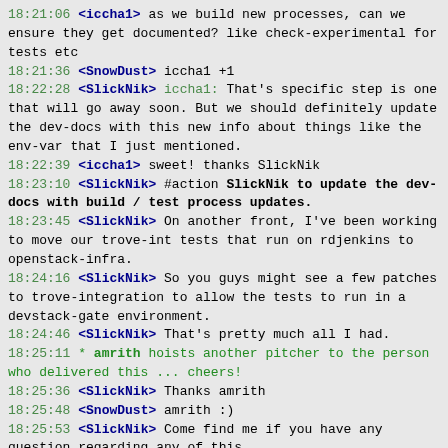18:21:06 <iccha1> as we build new processes, can we ensure they get documented? like check-experimental for tests etc
18:21:36 <SnowDust> iccha1 +1
18:22:28 <SlickNik> iccha1: That's specific step is one that will go away soon. But we should definitely update the dev-docs with this new info about things like the env-var that I just mentioned.
18:22:39 <iccha1> sweet! thanks SlickNik
18:23:10 <SlickNik> #action SlickNik to update the dev-docs with build / test process updates.
18:23:45 <SlickNik> On another front, I've been working to move our trove-int tests that run on rdjenkins to openstack-infra.
18:24:16 <SlickNik> So you guys might see a few patches to trove-integration to allow the tests to run in a devstack-gate environment.
18:24:46 <SlickNik> That's pretty much all I had.
18:25:11 * amrith hoists another pitcher to the person who delivered this ... cheers!
18:25:36 <SlickNik> Thanks amrith
18:25:48 <SnowDust> amrith :)
18:25:53 <SlickNik> Come find me if you have any question regarding any of this.
18:26:00 <SlickNik> Let's move on.
18:26:14 <SlickNik> #topic Vertica Datastore patch review
18:26:36 <amrith> i've been slogging through it
18:26:38 <SnowDust> Yes .. community .. any reasons .. not reviewing it ?